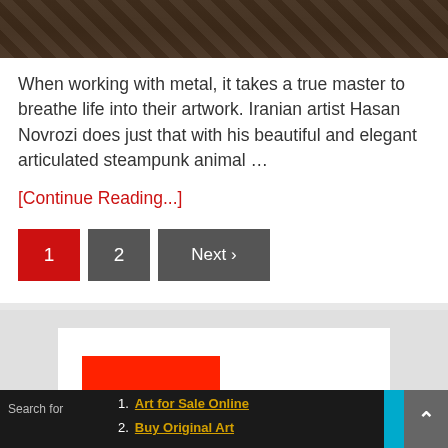[Figure (photo): Steampunk metal animal artwork photograph, dark tones with mechanical parts]
When working with metal, it takes a true master to breathe life into their artwork. Iranian artist Hasan Novrozi does just that with his beautiful and elegant articulated steampunk animal …
[Continue Reading...]
1
2
Next >
[Figure (screenshot): Advertisement box with red block element]
1. Art for Sale Online
2. Buy Original Art